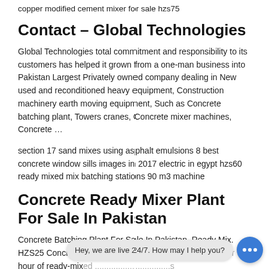copper modified cement mixer for sale hzs75
Contact – Global Technologies
Global Technologies total commitment and responsibility to its customers has helped it grown from a one-man business into Pakistan Largest Privately owned company dealing in New used and reconditioned heavy equipment, Construction machinery earth moving equipment, Such as Concrete batching plant, Towers cranes, Concrete mixer machines, Concrete …
section 17 sand mixes using asphalt emulsions 8 best concrete window sills images in 2017 electric in egypt hzs60 ready mixed mix batching stations 90 m3 machine
Concrete Ready Mixer Plant For Sale In Pakistan
Concrete Batching Plant For Sale In Pakistan, Ready Mix. HZS25 Concrete Batching Plant allows receiving up to 25r hour of ready-mix ... s simple design, compact size, ease of daily operation, both in
Hey, we are live 24/7. How may I help you?